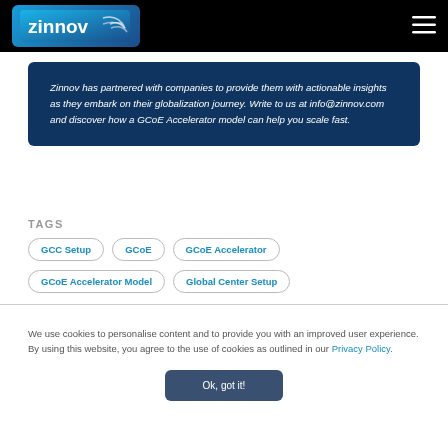Zinnov
Zinnov has partnered with companies to provide them with actionable insights as they embark on their globalization journey. Write to us at info@zinnov.com and discover how a GCoE Accelerator model can help you scale fast.
TAGS
GCC Setup
GCoE
GCoE Accelerator
GCoE Accelerator Model
Global Center Setup
We use cookies to personalise content and to provide you with an improved user experience. By using this website, you agree to the use of cookies as outlined in our Privacy Policy.